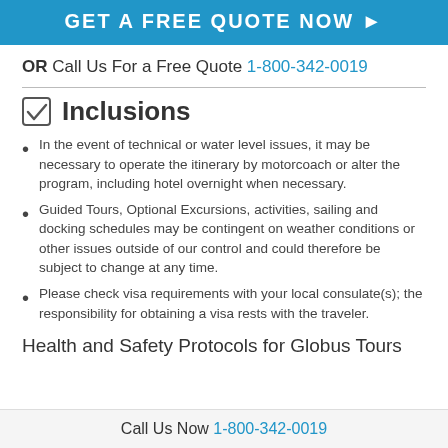[Figure (other): Blue button banner with text GET A FREE QUOTE NOW and right arrow]
OR Call Us For a Free Quote 1-800-342-0019
Inclusions
In the event of technical or water level issues, it may be necessary to operate the itinerary by motorcoach or alter the program, including hotel overnight when necessary.
Guided Tours, Optional Excursions, activities, sailing and docking schedules may be contingent on weather conditions or other issues outside of our control and could therefore be subject to change at any time.
Please check visa requirements with your local consulate(s); the responsibility for obtaining a visa rests with the traveler.
Health and Safety Protocols for Globus Tours
Call Us Now 1-800-342-0019